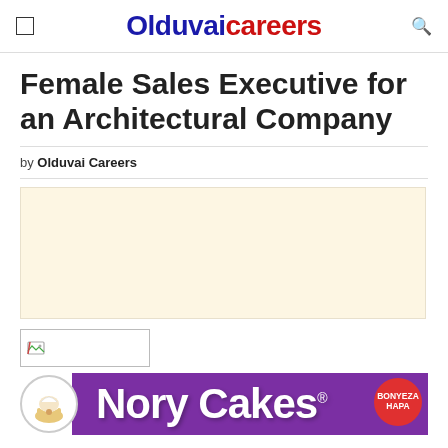Olduvai careers
Female Sales Executive for an Architectural Company
by Olduvai Careers
[Figure (other): Beige/cream colored advertisement placeholder box]
[Figure (other): Broken image placeholder box]
[Figure (other): Nory Cakes purple banner advertisement with chef logo and BONYEZA HAPA badge]